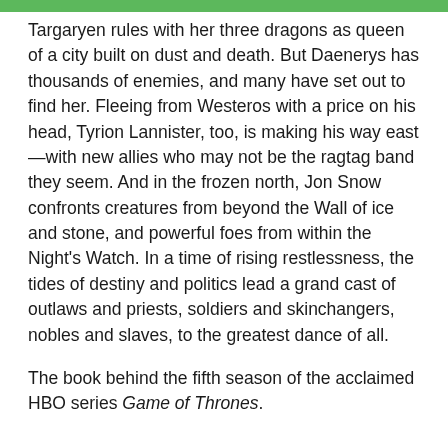Targaryen rules with her three dragons as queen of a city built on dust and death. But Daenerys has thousands of enemies, and many have set out to find her. Fleeing from Westeros with a price on his head, Tyrion Lannister, too, is making his way east—with new allies who may not be the ragtag band they seem. And in the frozen north, Jon Snow confronts creatures from beyond the Wall of ice and stone, and powerful foes from within the Night's Watch. In a time of rising restlessness, the tides of destiny and politics lead a grand cast of outlaws and priests, soldiers and skinchangers, nobles and slaves, to the greatest dance of all.
The book behind the fifth season of the acclaimed HBO series Game of Thrones.